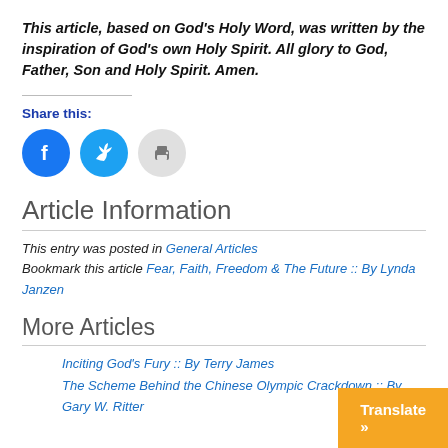This article, based on God's Holy Word, was written by the inspiration of God's own Holy Spirit. All glory to God, Father, Son and Holy Spirit. Amen.
Share this:
[Figure (other): Three circular share buttons: Facebook (blue), Twitter (light blue), Print (gray)]
Article Information
This entry was posted in General Articles Bookmark this article Fear, Faith, Freedom & The Future :: By Lynda Janzen
More Articles
Inciting God's Fury :: By Terry James
The Scheme Behind the Chinese Olympic Crackdown :: By Gary W. Ritter
Translate »